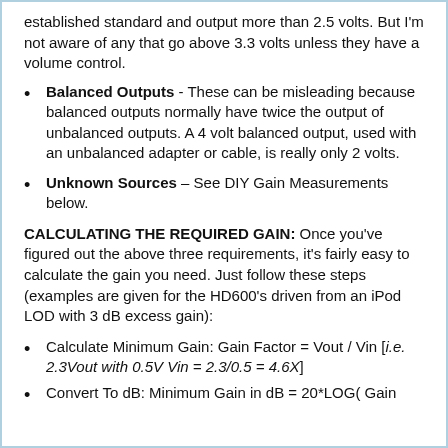established standard and output more than 2.5 volts. But I'm not aware of any that go above 3.3 volts unless they have a volume control.
Balanced Outputs - These can be misleading because balanced outputs normally have twice the output of unbalanced outputs. A 4 volt balanced output, used with an unbalanced adapter or cable, is really only 2 volts.
Unknown Sources – See DIY Gain Measurements below.
CALCULATING THE REQUIRED GAIN: Once you've figured out the above three requirements, it's fairly easy to calculate the gain you need. Just follow these steps (examples are given for the HD600's driven from an iPod LOD with 3 dB excess gain):
Calculate Minimum Gain: Gain Factor = Vout / Vin [i.e. 2.3Vout with 0.5V Vin = 2.3/0.5 = 4.6X]
Convert To dB: Minimum Gain in dB = 20*LOG( Gain